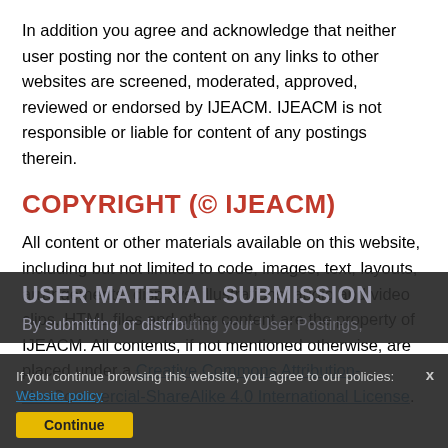In addition you agree and acknowledge that neither user posting nor the content on any links to other websites are screened, moderated, approved, reviewed or endorsed by IJEACM. IJEACM is not responsible or liable for content of any postings therein.
COPYRIGHT (© IJEACM)
All content or other materials available on this website, including but not limited to code, images, text, layouts, arrangements, displays, illustrations, audio and video clips, HTML files and other content are the property of IJEACM. All contents, if not mentioned otherwise, are placed under a Creative Commons Attribution-NonCommercial-ShareAlike 4.0 International License.
USER MATERIAL SUBMISSION
By submitting or distributing your User Postings,
If you continue browsing this website, you agree to our policies: Website policy
Continue